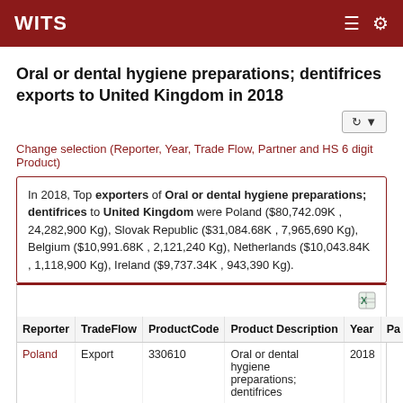WITS
Oral or dental hygiene preparations; dentifrices exports to United Kingdom in 2018
Change selection (Reporter, Year, Trade Flow, Partner and HS 6 digit Product)
In 2018, Top exporters of Oral or dental hygiene preparations; dentifrices to United Kingdom were Poland ($80,742.09K , 24,282,900 Kg), Slovak Republic ($31,084.68K , 7,965,690 Kg), Belgium ($10,991.68K , 2,121,240 Kg), Netherlands ($10,043.84K , 1,118,900 Kg), Ireland ($9,737.34K , 943,390 Kg).
| Reporter | TradeFlow | ProductCode | Product Description | Year | Pa |
| --- | --- | --- | --- | --- | --- |
| Poland | Export | 330610 | Oral or dental hygiene preparations; dentifrices | 2018 |  |
| Slovak | Export | 330610 | Oral or dental hygiene | 2018 |  |